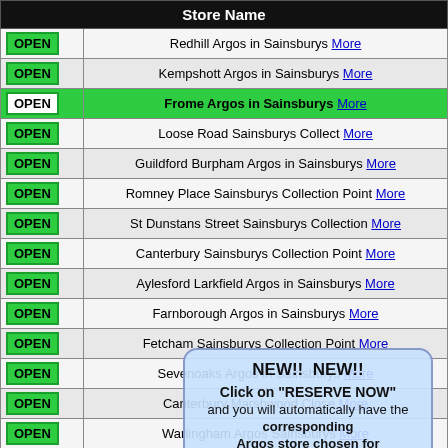| Store Name |
| --- |
| OPEN | Redhill Argos in Sainsburys More |
| OPEN | Kempshott Argos in Sainsburys More |
| OPEN | Frome Argos in Sainsburys More |
| OPEN | Loose Road Sainsburys Collect More |
| OPEN | Guildford Burpham Argos in Sainsburys More |
| OPEN | Romney Place Sainsburys Collection Point More |
| OPEN | St Dunstans Street Sainsburys Collection More |
| OPEN | Canterbury Sainsburys Collection Point More |
| OPEN | Aylesford Larkfield Argos in Sainsburys More |
| OPEN | Farnborough Argos in Sainsburys More |
| OPEN | Fetcham Sainsburys Collection Point More |
| OPEN | Sevenoaks Argos in Sainsburys More |
| OPEN | Canterbury Marshwood Close More |
| OPEN | Warlingham Argos Sainsburys More |
| OPEN | Knaphill Brookwood Argos in Sainsburys More |
| OPEN | Woking Sainsburys More |
| OPEN | Watchmoor Park Argos in Sainsburys More |
| OPEN | Faversham Argos in Sainsburys More |
| OPEN | Midsomer Norton Sainsburys Collection Pt More |
| OPEN | Cobham Argos in Sainsburys More |
| OPEN | Purley High St Sainsburys Collect More |
| OPEN | Sittingbourne Argos in Sainsburys More |
NEW!! NEW!! Click on "RESERVE NOW" and you will automatically have the corresponding Argos store chosen for you on the Argos website! This will auto close in 5 seconds